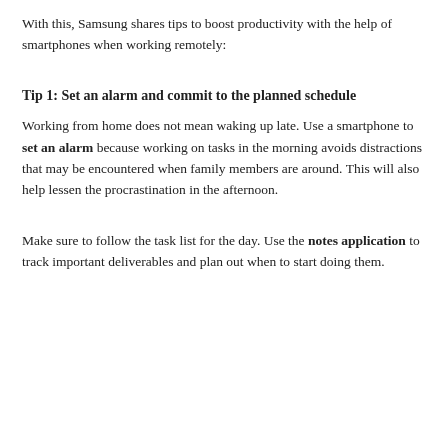With this, Samsung shares tips to boost productivity with the help of smartphones when working remotely:
Tip 1: Set an alarm and commit to the planned schedule
Working from home does not mean waking up late. Use a smartphone to set an alarm because working on tasks in the morning avoids distractions that may be encountered when family members are around. This will also help lessen the procrastination in the afternoon.
Make sure to follow the task list for the day. Use the notes application to track important deliverables and plan out when to start doing them.